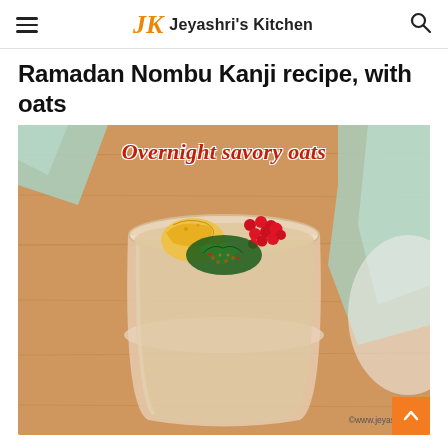Jeyashri's Kitchen
Ramadan Nombu Kanji recipe, with oats
[Figure (photo): A glass of overnight savory oats (Nombu Kanji) topped with mango pieces, red pomegranate seeds, and green herb tempering, placed on a wooden board with a mint-green cloth in the background. Text overlay reads 'Overnight savory oats'. Watermark: ©www.jeyashriski...]